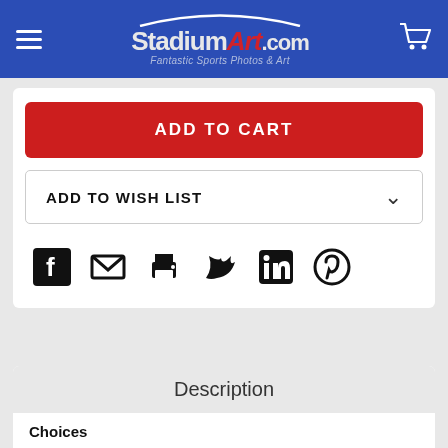StadiumArt.com — Fantastic Sports Photos & Art
ADD TO CART
ADD TO WISH LIST
[Figure (infographic): Social sharing icons row: Facebook, Email/Envelope, Print, Twitter, LinkedIn, Pinterest]
Description
Choices
Select from drop down menu(s). The prints are available in different sizes and styles. We accept custom size requests.